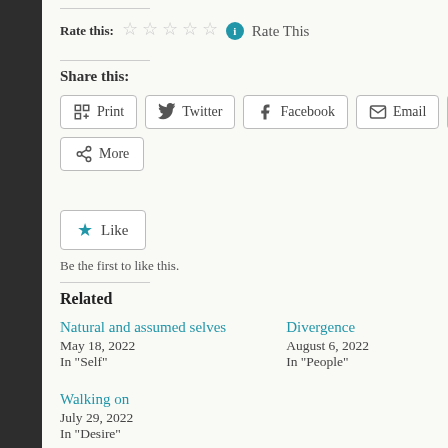Rate this: ☆☆☆☆☆ ℹ Rate This
Share this:
Print | Twitter | Facebook | Email | Pinterest | More
★ Like
Be the first to like this.
Related
Natural and assumed selves
May 18, 2022
In "Self"
Divergence
August 6, 2022
In "People"
Walking on
July 29, 2022
In "Desire"